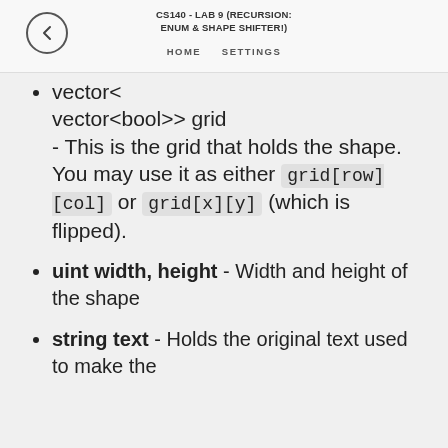CS140 - LAB 9 (RECURSION: ENUM & SHAPE SHIFTER!) HOME SETTINGS
vector<bool>> grid - This is the grid that holds the shape. You may use it as either grid[row][col] or grid[x][y] (which is flipped).
uint width, height - Width and height of the shape
string text - Holds the original text used to make the